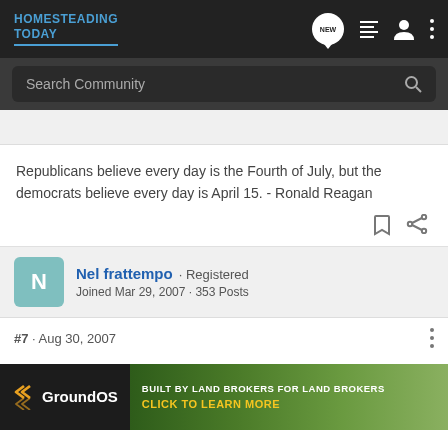HOMESTEADING TODAY
Search Community
Republicans believe every day is the Fourth of July, but the democrats believe every day is April 15. - Ronald Reagan
Nel frattempo · Registered
Joined Mar 29, 2007 · 353 Posts
#7 · Aug 30, 2007
I am not very "in" with the internet banking and so forth......so when w... he small o... only
[Figure (screenshot): GroundOS advertisement banner: BUILT BY LAND BROKERS FOR LAND BROKERS - CLICK TO LEARN MORE]